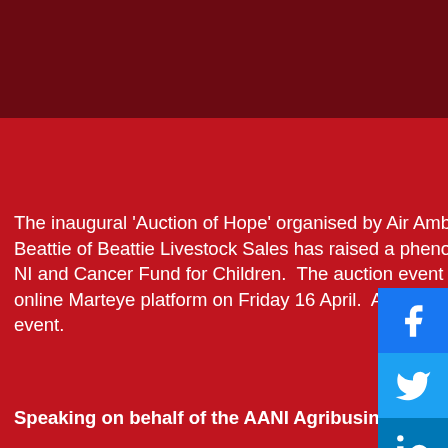[Figure (illustration): Dark red banner background at top of page]
The inaugural ‘Auction of Hope’ organised by Air Ambulance Northern Ireland’s agribusiness group and Richard Beattie of Beattie Livestock Sales has raised a phenomenal £92,450 for two well-loved charities, Air Ambulance NI and Cancer Fund for Children.  The auction event involved the sale of 161 lots over 3 and a half hours on the online Marteye platform on Friday 16 April.  All lots were gifted at no cost and over 20,000 people tuned in to the event.
Speaking on behalf of the AANI Agribusiness